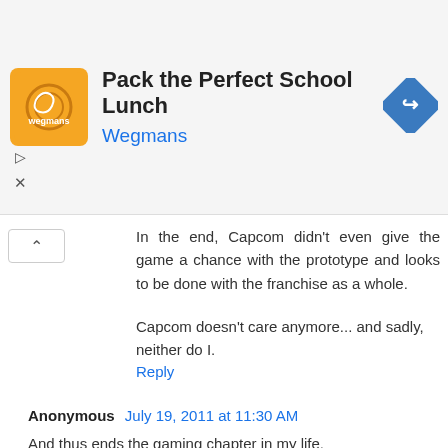[Figure (infographic): Advertisement banner for Wegmans 'Pack the Perfect School Lunch' with orange logo, navigation arrow icon, and ad controls]
In the end, Capcom didn't even give the game a chance with the prototype and looks to be done with the franchise as a whole.
Capcom doesn't care anymore... and sadly, neither do I.
Reply
Anonymous July 19, 2011 at 11:30 AM
And thus ends the gaming chapter in my life.
I'm no gamer, I've been drifting away farther and farther from games, but i know one thing that keeps me connected to games are my love for the Mega Man games and boy do I love the Legends series. I would have bought Universe and sure as hell would have gotten myself a 3DS for MML3. I guess the only thing I can thank capcom for is